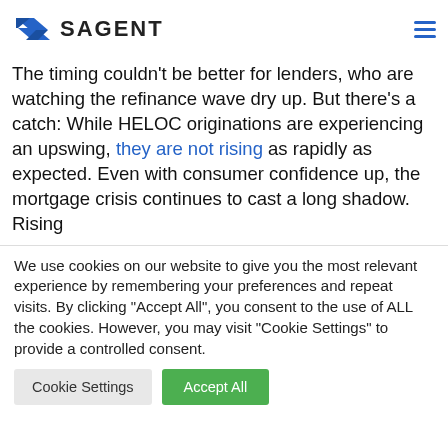SAGENT
The timing couldn't be better for lenders, who are watching the refinance wave dry up. But there's a catch: While HELOC originations are experiencing an upswing, they are not rising as rapidly as expected. Even with consumer confidence up, the mortgage crisis continues to cast a long shadow. Rising
We use cookies on our website to give you the most relevant experience by remembering your preferences and repeat visits. By clicking "Accept All", you consent to the use of ALL the cookies. However, you may visit "Cookie Settings" to provide a controlled consent.